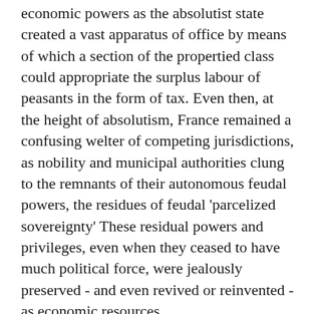economic powers as the absolutist state created a vast apparatus of office by means of which a section of the propertied class could appropriate the surplus labour of peasants in the form of tax. Even then, at the height of absolutism, France remained a confusing welter of competing jurisdictions, as nobility and municipal authorities clung to the remnants of their autonomous feudal powers, the residues of feudal 'parcelized sovereignty' These residual powers and privileges, even when they ceased to have much political force, were jealously preserved - and even revived or reinvented - as economic resources.
The divergence between property relations in France and those in England is nicely encapsulated in the contrast between the mind